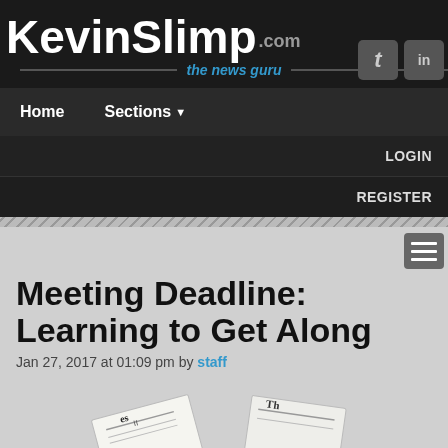KevinSlimp.com — the news guru
Home   Sections
LOGIN
REGISTER
Meeting Deadline: Learning to Get Along
Jan 27, 2017 at 01:09 pm by staff
[Figure (photo): Newspaper pages fanned out at bottom of page]